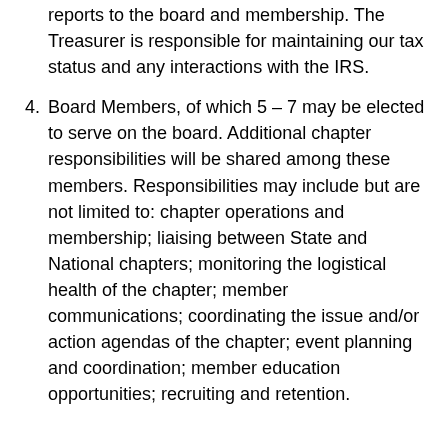reports to the board and membership. The Treasurer is responsible for maintaining our tax status and any interactions with the IRS.
4. Board Members, of which 5 – 7 may be elected to serve on the board. Additional chapter responsibilities will be shared among these members. Responsibilities may include but are not limited to: chapter operations and membership; liaising between State and National chapters; monitoring the logistical health of the chapter; member communications; coordinating the issue and/or action agendas of the chapter; event planning and coordination; member education opportunities; recruiting and retention.